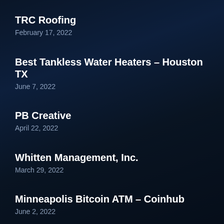TRC Roofing
February 17, 2022
Best Tankless Water Heaters – Houston TX
June 7, 2022
PB Creative
April 22, 2022
Whitten Management, Inc.
March 29, 2022
Minneapolis Bitcoin ATM – Coinhub
June 2, 2022
S2 Handling LLC